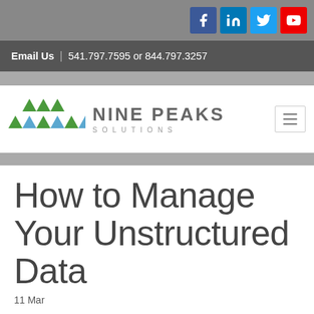Email Us | 541.797.7595 or 844.797.3257
[Figure (logo): Nine Peaks Solutions logo with triangles in green and blue, company name in gray]
How to Manage Your Unstructured Data
11 Mar
Unstructured data is a common management challenge for any size organization across industries, and it impacts